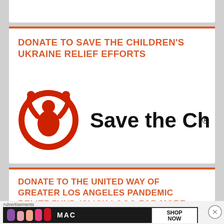[Figure (other): Partial white card at top, cut off]
DONATE TO SAVE THE CHILDREN'S UKRAINE RELIEF EFFORTS
[Figure (logo): Save the Children logo: red circular icon of a child with arms raised inside a circle, next to bold black text reading 'Save the Children' with registered trademark symbol]
DONATE TO THE UNITED WAY OF GREATER LOS ANGELES PANDEMIC RELIEF FUND (CLICK LOGO FOR MORE
[Figure (other): Advertisement banner for MAC cosmetics showing lipsticks and 'SHOP NOW' text, labeled 'Advertisements']